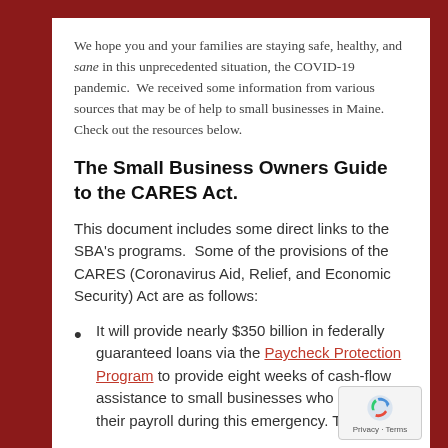We hope you and your families are staying safe, healthy, and sane in this unprecedented situation, the COVID-19 pandemic.  We received some information from various sources that may be of help to small businesses in Maine. Check out the resources below.
The Small Business Owners Guide to the CARES Act.
This document includes some direct links to the SBA's programs.  Some of the provisions of the CARES (Coronavirus Aid, Relief, and Economic Security) Act are as follows:
It will provide nearly $350 billion in federally guaranteed loans via the Paycheck Protection Program to provide eight weeks of cash-flow assistance to small businesses who maintain their payroll during this emergency. The...